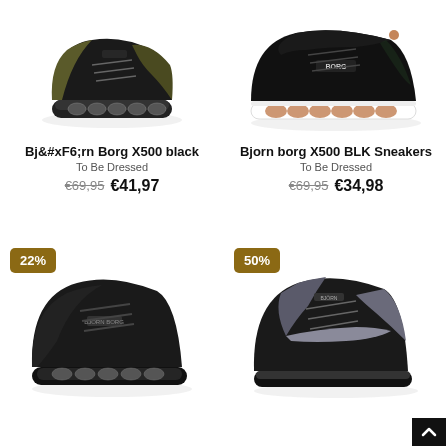[Figure (photo): Black and olive/khaki Bjorn Borg X500 sneaker, side view on white background]
Bj&#xF6;rn Borg X500 black
To Be Dressed
€69,95  €41,97
[Figure (photo): Black Bjorn Borg X500 BLK sneaker with rose gold midsole bubbles, side view on white background]
Bjorn borg X500 BLK Sneakers
To Be Dressed
€69,95  €34,98
[Figure (photo): Black suede Bjorn Borg sneaker with air cushion sole, side view, 22% discount badge]
[Figure (photo): Black and silver/gunmetal Bjorn Borg sneaker, side view, 50% discount badge]